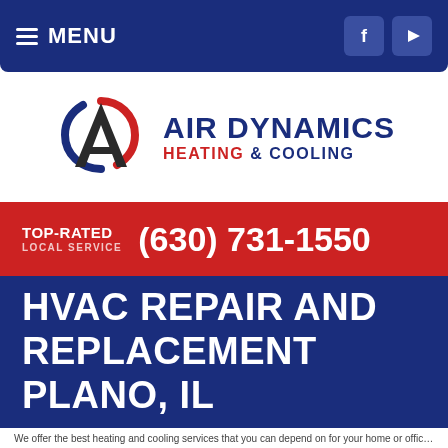MENU
[Figure (logo): Air Dynamics Heating & Cooling company logo with stylized letter A with blue and red swoosh]
TOP-RATED LOCAL SERVICE (630) 731-1550
HVAC REPAIR AND REPLACEMENT PLANO, IL
We offer the best heating and cooling services for your home or office...